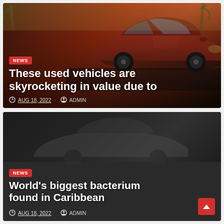[Figure (photo): Red Toyota Prius car parked outdoors near palm trees, viewed from front-left angle]
NEWS
These used vehicles are skyrocketing in value due to
AUG 18, 2022   ADMIN
[Figure (photo): Dark background with faint car silhouette in low light]
NEWS
World's biggest bacterium found in Caribbean
AUG 18, 2022   ADMIN